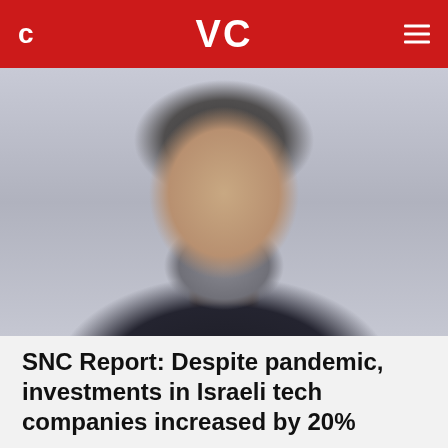C  VC  ☰
[Figure (photo): Portrait photo of a middle-aged man with salt-and-pepper hair, rimless glasses, a gray beard, wearing a dark jacket, photographed against a light gray background.]
SNC Report: Despite pandemic, investments in Israeli tech companies increased by 20%